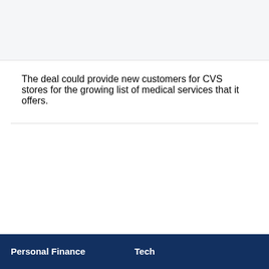[Figure (other): Gray background block at top of page, likely an image placeholder]
The deal could provide new customers for CVS stores for the growing list of medical services that it offers.
Personal Finance   Tech